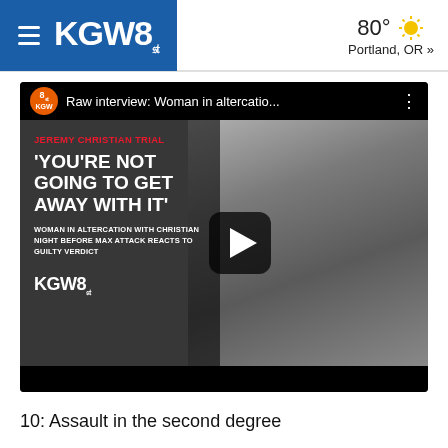KGW8 | 80° Portland, OR »
[Figure (screenshot): KGW8 news video thumbnail showing a woman in an altercation with Jeremy Christian the night before the MAX attack reacting to a guilty verdict. Overlay text reads: JEREMY CHRISTIAN TRIAL / 'YOU'RE NOT GOING TO GET AWAY WITH IT' / WOMAN IN ALTERCATION WITH CHRISTIAN NIGHT BEFORE MAX ATTACK REACTS TO GUILTY VERDICT. Video title bar reads: Raw interview: Woman in altercatio...]
10: Assault in the second degree